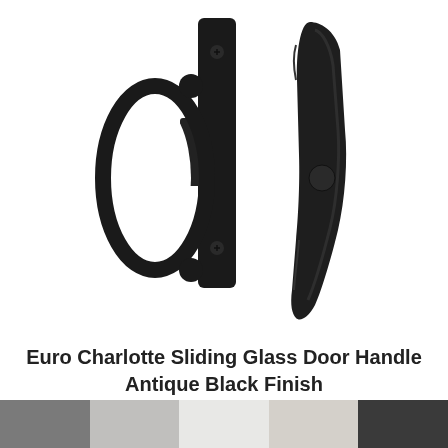[Figure (photo): Two views of a sliding glass door handle in antique black finish. Left view shows the exterior pull handle with a large oval loop grip and mounting plate with two screws. Right view shows the interior lever/paddle handle with a curved ergonomic shape and a round button detail.]
Euro Charlotte Sliding Glass Door Handle Antique Black Finish
[Figure (photo): Color swatch strip showing different finish options: dark grey, medium grey, light grey, warm grey, and dark/black.]